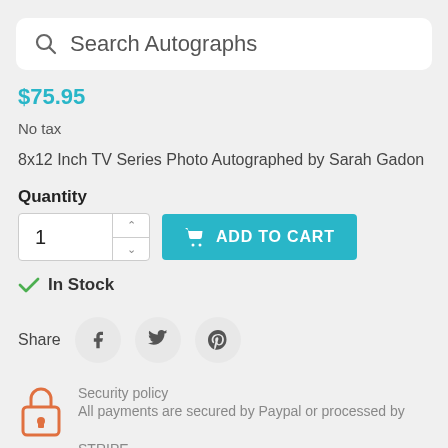Search Autographs
$75.95
No tax
8x12 Inch TV Series Photo Autographed by Sarah Gadon
Quantity
ADD TO CART
In Stock
Share
Security policy
All payments are secured by Paypal or processed by
STRIPE.